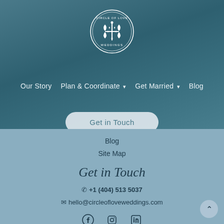[Figure (logo): Circle of Love Weddings circular logo with decorative floral/ornamental motif in white on teal/blue background]
Our Story  Plan & Coordinate ▾  Get Married ▾  Blog
Get in Touch
Blog
Site Map
Get in Touch
📞 +1 (404) 513 5037
✉ hello@circleofloveweddings.com
[Figure (other): Social media icons: Facebook, Instagram, LinkedIn]